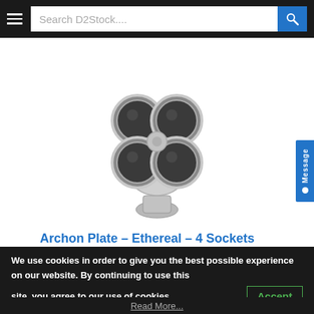Search D2Stock....
[Figure (photo): Silver ornamental plate with 4 circular dark lens sockets arranged in a cluster, top view, antique metalwork]
Archon Plate – Ethereal – 4 Sockets
We use cookies in order to give you the best possible experience on our website. By continuing to use this site, you agree to our use of cookies.
Accept
Read More...